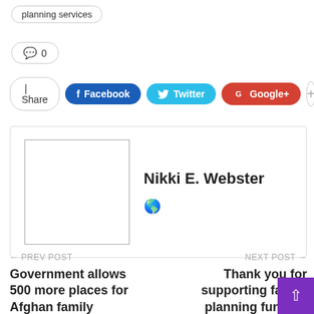planning services
💬 0
Share  Facebook  Twitter  Google+  +
Nikki E. Webster
← PREV POST
Government allows 500 more places for Afghan family members
NEXT POST →
Thank you for supporting family planning funding